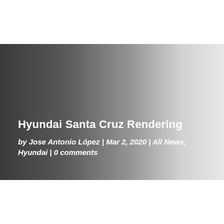[Figure (illustration): A horizontal banner image with a dark-to-light gradient background (dark charcoal on the left fading to light gray on the right). Overlaid white text at the bottom-left shows the article title 'Hyundai Santa Cruz Rendering' and metadata 'by Jose Antonio López | Mar 2, 2020 | All News, Hyundai | 0 comments'.]
Hyundai Santa Cruz Rendering
by Jose Antonio López | Mar 2, 2020 | All News, Hyundai | 0 comments